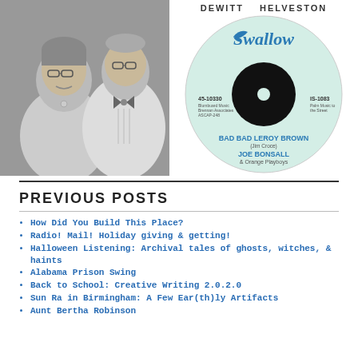[Figure (photo): Black and white photograph of a couple — a woman with glasses and a man with glasses wearing a bow tie]
DEWITT   HELVESTON
[Figure (photo): Swallow Records 45 rpm vinyl record label: 45-10330, BAD BAD LEROY BROWN (Jim Croce), JOE BONSALL & Orange Playboys, IS-1083]
PREVIOUS POSTS
How Did You Build This Place?
Radio! Mail! Holiday giving & getting!
Halloween Listening: Archival tales of ghosts, witches, & haints
Alabama Prison Swing
Back to School: Creative Writing 2.0.2.0
Sun Ra in Birmingham: A Few Ear(th)ly Artifacts
Aunt Bertha Robinson